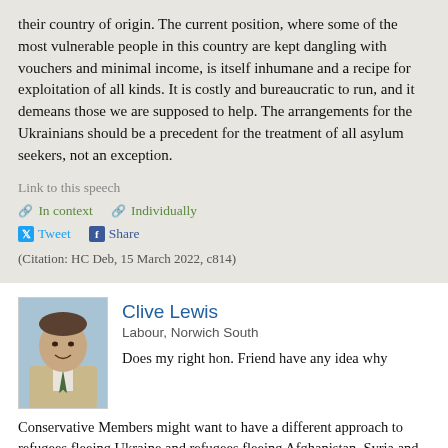their country of origin. The current position, where some of the most vulnerable people in this country are kept dangling with vouchers and minimal income, is itself inhumane and a recipe for exploitation of all kinds. It is costly and bureaucratic to run, and it demeans those we are supposed to help. The arrangements for the Ukrainians should be a precedent for the treatment of all asylum seekers, not an exception.
Link to this speech
In context   Individually
Tweet   Share
(Citation: HC Deb, 15 March 2022, c814)
Clive Lewis
Labour, Norwich South
Does my right hon. Friend have any idea why Conservative Members might want to have a different approach to refugees fleeing Ukraine and refugees fleeing Afghanistan, Syria and other countries?
Link to this speech